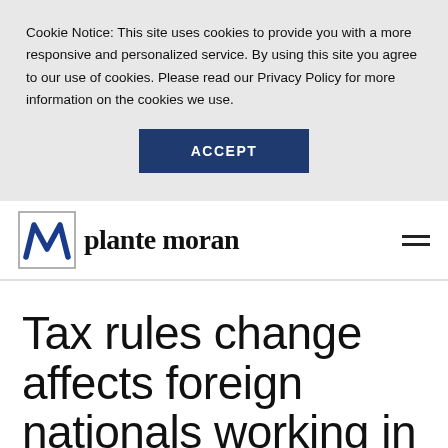Cookie Notice: This site uses cookies to provide you with a more responsive and personalized service. By using this site you agree to our use of cookies. Please read our Privacy Policy for more information on the cookies we use.
ACCEPT
[Figure (logo): Plante Moran logo with stylized 'M' icon and 'plante moran' wordmark]
Tax rules change affects foreign nationals working in